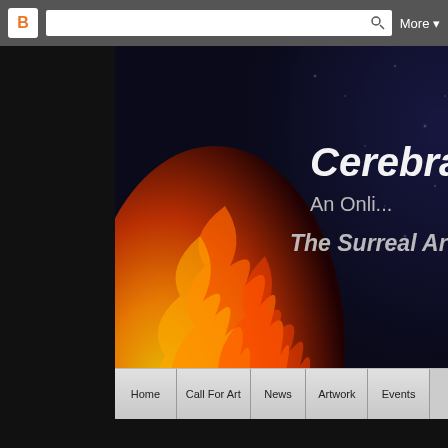Blogger navigation bar with search and More button
[Figure (photo): Banner image showing fire and galaxy/space background with text 'Cerebral' and 'An Onli...' and 'The Surreal Art of...']
[Figure (screenshot): Navigation bar with tabs: Home, Call For Art, News, Artwork, Events]
MONDAY, NOVEMBER 5, 2012
Call for Artists VCU Medical Center
I received this email earlier today.
Dear Fellow Artists: